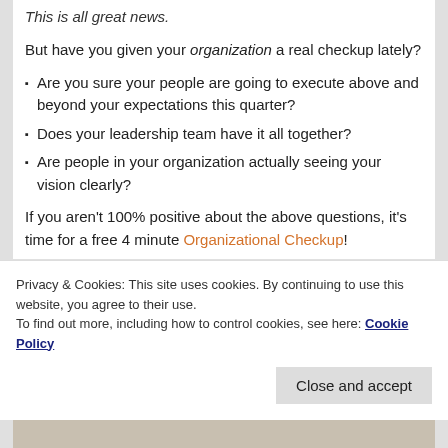This is all great news.
But have you given your organization a real checkup lately?
Are you sure your people are going to execute above and beyond your expectations this quarter?
Does your leadership team have it all together?
Are people in your organization actually seeing your vision clearly?
If you aren't 100% positive about the above questions, it's time for a free 4 minute Organizational Checkup!
[Figure (photo): Partial photo strip visible at page bottom]
Privacy & Cookies: This site uses cookies. By continuing to use this website, you agree to their use. To find out more, including how to control cookies, see here: Cookie Policy